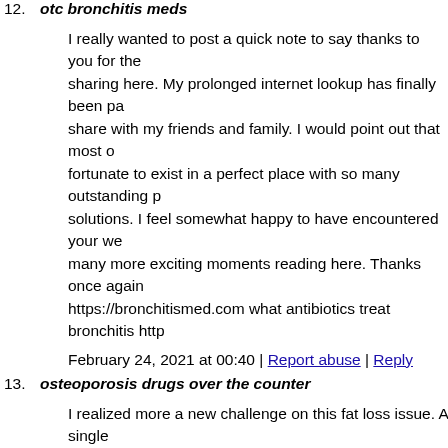12. otc bronchitis meds
I really wanted to post a quick note to say thanks to you for the sharing here. My prolonged internet lookup has finally been pa share with my friends and family. I would point out that most o fortunate to exist in a perfect place with so many outstanding p solutions. I feel somewhat happy to have encountered your we many more exciting moments reading here. Thanks once again https://bronchitismed.com what antibiotics treat bronchitis http
February 24, 2021 at 00:40 | Report abuse | Reply
13. osteoporosis drugs over the counter
I realized more a new challenge on this fat loss issue. A single very vital any time dieting. A massive reduction in junk food, s sugary foods, beef, and white-colored flour products could be r parasitic organisms, and toxic compounds may prevent targets drugs in the short term solve the situation, the awful side effec so they never offer you more than a momentary solution. This 95% of celebrity diets fail. Thank you for sharing your opinioro https://osteoporosismedi.com osteoporosis drugs over the cour https://osteoporosismedi.com/
February 24, 2021 at 00:43 | Report abuse | Reply
14. generic epilepsy medication